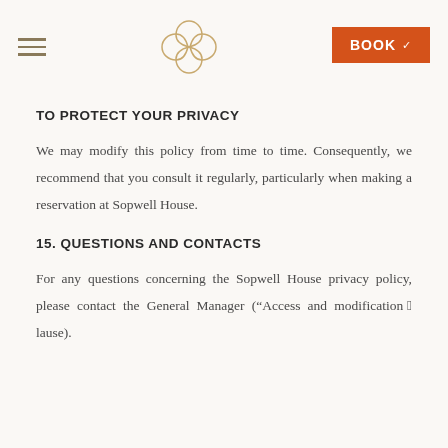BOOK
TO PROTECT YOUR PRIVACY
We may modify this policy from time to time. Consequently, we recommend that you consult it regularly, particularly when making a reservation at Sopwell House.
15. QUESTIONS AND CONTACTS
For any questions concerning the Sopwell House privacy policy, please contact the General Manager (“Access and modification”clause).